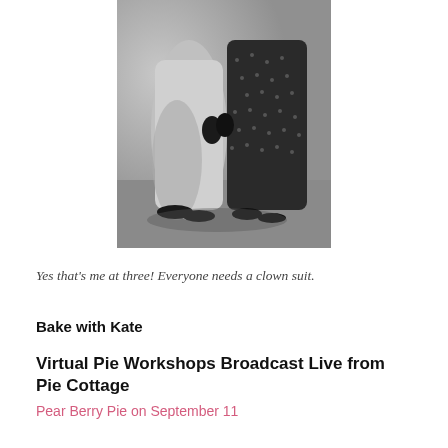[Figure (photo): Black and white photograph showing the lower body/legs of two people wearing long dresses or robes, one lighter fabric and one dark patterned fabric, with black shoes visible at the bottom.]
Yes that's me at three! Everyone needs a clown suit.
Bake with Kate
Virtual Pie Workshops Broadcast Live from Pie Cottage
Pear Berry Pie on September 11